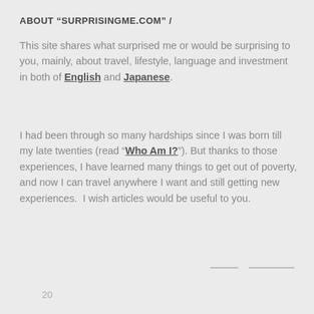ABOUT “SURPRISINGME.COM” /
This site shares what surprised me or would be surprising to you, mainly, about travel, lifestyle, language and investment in both of English and Japanese.
I had been through so many hardships since I was born till my late twenties (read “Who Am I?”). But thanks to those experiences, I have learned many things to get out of poverty, and now I can travel anywhere I want and still getting new experiences.  I wish articles would be useful to you.
20